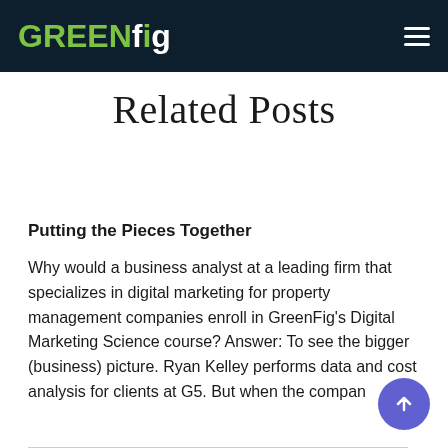GREENfig
Related Posts
Putting the Pieces Together
Why would a business analyst at a leading firm that specializes in digital marketing for property management companies enroll in GreenFig's Digital Marketing Science course? Answer: To see the bigger (business) picture. Ryan Kelley performs data and cost analysis for clients at G5. But when the compan